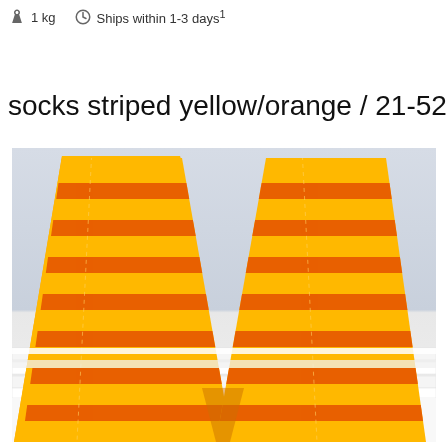1 kg   Ships within 1-3 days¹
socks striped yellow/orange / 21-52
[Figure (photo): Two yellow and orange horizontally striped socks arranged in a V shape against a light gray/white slatted background.]